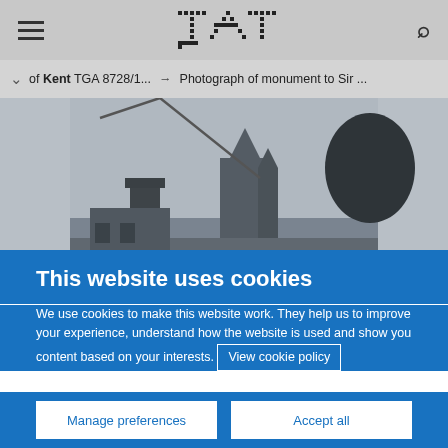TATE — navigation header with hamburger menu, Tate logo, and search icon
of Kent TGA 8728/1... → Photograph of monument to Sir ...
[Figure (photo): Black and white photograph showing a monument or church tower with chimneys and a tree against a sky with a crane visible]
This website uses cookies
We use cookies to make this website work. They help us to improve your experience, understand how the website is used and show you content based on your interests. View cookie policy
Manage preferences   Accept all